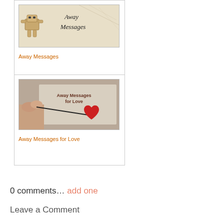[Figure (photo): Away Messages blog card image showing a box robot figure with cursive text 'Away Messages' on a light background]
Away Messages
[Figure (photo): Away Messages for Love blog card image showing a hand drawing a red heart with text 'Away Messages for Love']
Away Messages for Love
0 comments… add one
Leave a Comment